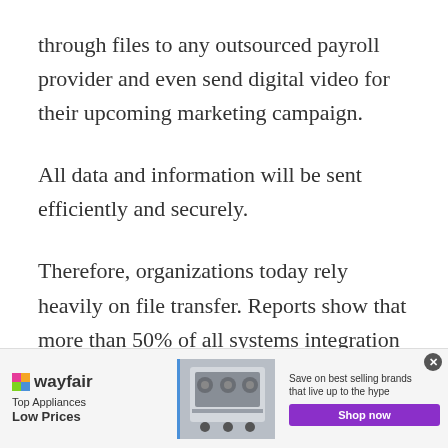through files to any outsourced payroll provider and even send digital video for their upcoming marketing campaign.
All data and information will be sent efficiently and securely.
Therefore, organizations today rely heavily on file transfer. Reports show that more than 50% of all systems integration is made through this process whether it is in the banking sector or
[Figure (other): Wayfair advertisement banner: 'Top Appliances Low Prices' with image of kitchen appliance and 'Shop now' button. Save on best selling brands that live up to the hype.]